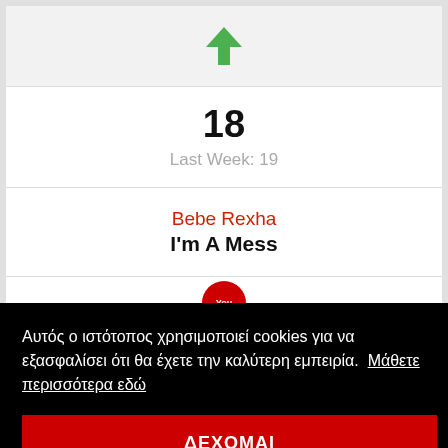[Figure (infographic): Green upward arrow icon indicating rank movement up]
18
Last Week: 19
Bebe Rexha
I'm A Mess
[Figure (logo): YouTube red circular button partially visible]
Αυτός ο ιστότοπος χρησιμοποιεί cookies για να εξασφαλίσει ότι θα έχετε την καλύτερη εμπειρία.  Μάθετε περισσότερα εδώ
ΔΕΧΟΜΑΙ